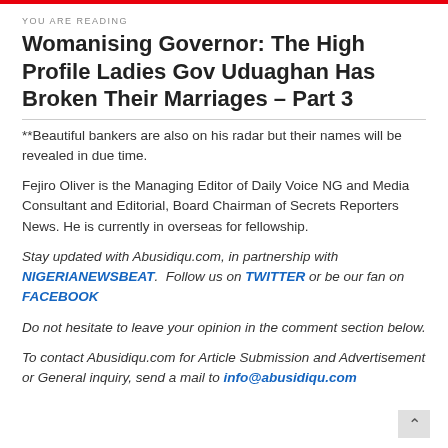YOU ARE READING
Womanising Governor: The High Profile Ladies Gov Uduaghan Has Broken Their Marriages – Part 3
**Beautiful bankers are also on his radar but their names will be revealed in due time.
Fejiro Oliver is the Managing Editor of Daily Voice NG and Media Consultant and Editorial, Board Chairman of Secrets Reporters News. He is currently in overseas for fellowship.
Stay updated with Abusidiqu.com, in partnership with NIGERIANEWSBEAT.  Follow us on TWITTER or be our fan on FACEBOOK
Do not hesitate to leave your opinion in the comment section below.
To contact Abusidiqu.com for Article Submission and Advertisement or General inquiry, send a mail to info@abusidiqu.com